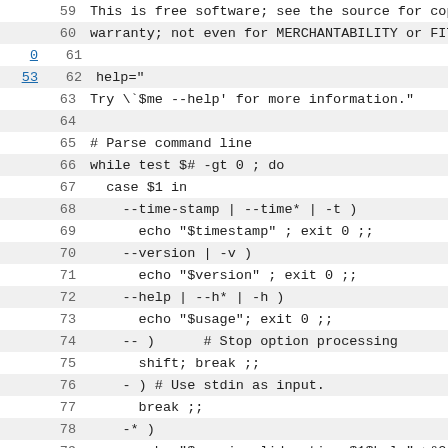Source code viewer showing lines 59-81 of a shell script with line numbers, fold markers, and code content including warranty notice, help string, and command-line argument parsing loop.